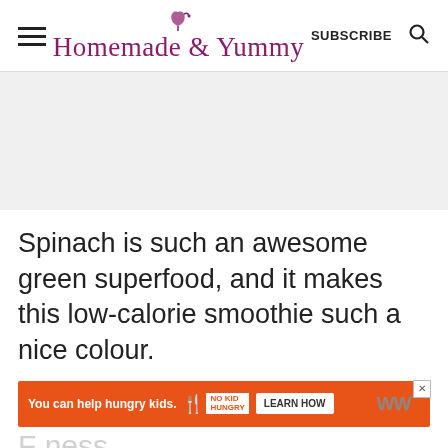Homemade & Yummy — SUBSCRIBE
[Figure (other): Gray advertisement placeholder area]
Spinach is such an awesome green superfood, and it makes this low-calorie smoothie such a nice colour.
[Figure (other): Orange banner ad: You can help hungry kids. No Kid Hungry. LEARN HOW]
F...ness (partial footer text)